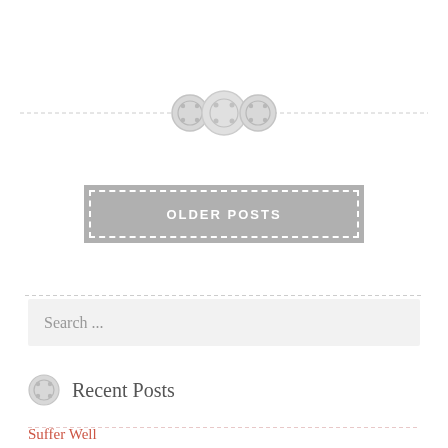[Figure (illustration): Three decorative button icons centered on a dashed horizontal divider line]
OLDER POSTS
Search ...
Recent Posts
Suffer Well